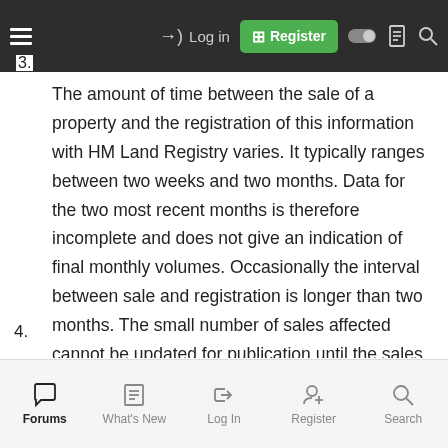Log in | Register [navigation bar]
3. The amount of time between the sale of a property and the registration of this information with HM Land Registry varies. It typically ranges between two weeks and two months. Data for the two most recent months is therefore incomplete and does not give an indication of final monthly volumes. Occasionally the interval between sale and registration is longer than two months. The small number of sales affected cannot be updated for publication until the sales are lodged for registration.
4.
Forums | What's New | Log In | Register | Search